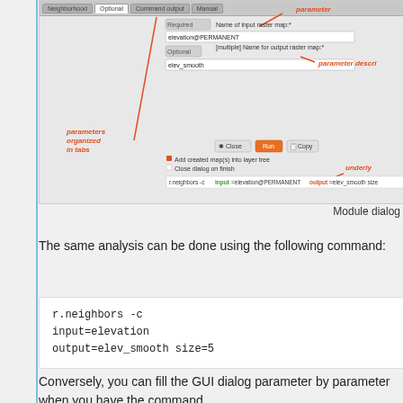[Figure (screenshot): GRASS GIS module dialog screenshot showing r.neighbors parameters organized in tabs, with annotations pointing to 'parameter' at top right, 'parameter description', 'parameters organized in tabs', and 'underlying command'. Fields show elevation@PERMANENT as input and elev_smooth as output. Bottom shows command: r.neighbors -c input=elevation@PERMANENT output=elev_smooth size=...]
Module dialog
The same analysis can be done using the following command:
Conversely, you can fill the GUI dialog parameter by parameter when you have the command.